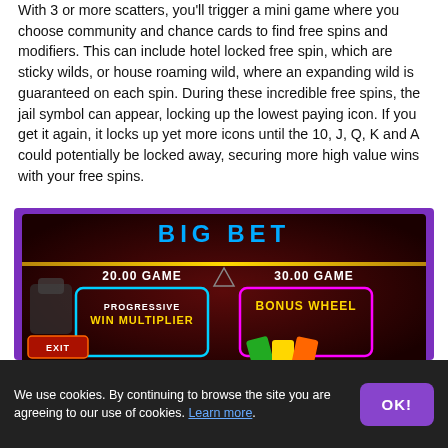With 3 or more scatters, you'll trigger a mini game where you choose community and chance cards to find free spins and modifiers. This can include hotel locked free spin, which are sticky wilds, or house roaming wild, where an expanding wild is guaranteed on each spin. During these incredible free spins, the jail symbol can appear, locking up the lowest paying icon. If you get it again, it locks up yet more icons until the 10, J, Q, K and A could potentially be locked away, securing more high value wins with your free spins.
[Figure (screenshot): Screenshot of a slot game showing a 'BIG BET' screen with options for 20.00 GAME with Progressive Win Multiplier (blue border) and 30.00 GAME with Bonus Wheel (pink/magenta border). An EXIT button is visible on the left.]
We use cookies. By continuing to browse the site you are agreeing to our use of cookies. Learn more.